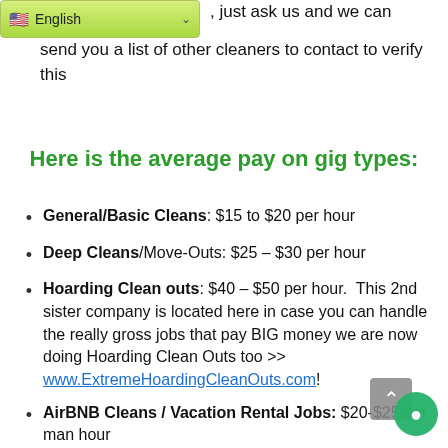[Figure (screenshot): Language selector dropdown showing English with US flag]
, just ask us and we can send you a list of other cleaners to contact to verify this
Here is the average pay on gig types:
General/Basic Cleans: $15 to $20 per hour
Deep Cleans/Move-Outs: $25 – $30 per hour
Hoarding Clean outs: $40 – $50 per hour.  This 2nd sister company is located here in case you can handle the really gross jobs that pay BIG money we are now doing Hoarding Clean Outs too >> www.ExtremeHoardingCleanOuts.com!
AirBNB Cleans / Vacation Rental Jobs: $20-$25 per man hour